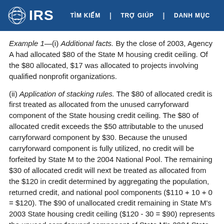IRS | TÌM KIẾM | TRỢ GIÚP | DANH MỤC
Example 1—(i) Additional facts. By the close of 2003, Agency A had allocated $80 of the State M housing credit ceiling. Of the $80 allocated, $17 was allocated to projects involving qualified nonprofit organizations.
(ii) Application of stacking rules. The $80 of allocated credit is first treated as allocated from the unused carryforward component of the State housing credit ceiling. The $80 of allocated credit exceeds the $50 attributable to the unused carryforward component by $30. Because the unused carryforward component is fully utilized, no credit will be forfeited by State M to the 2004 National Pool. The remaining $30 of allocated credit will next be treated as allocated from the $120 in credit determined by aggregating the population, returned credit, and national pool components ($110 + 10 + 0 = $120). The $90 of unallocated credit remaining in State M's 2003 State housing credit ceiling ($120 - 30 = $90) represents the unused carryforward component of State M's 2004 State housing credit ceiling. Under paragraph (i)